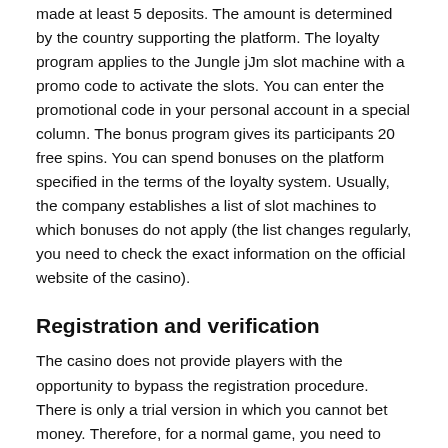made at least 5 deposits. The amount is determined by the country supporting the platform. The loyalty program applies to the Jungle jJm slot machine with a promo code to activate the slots. You can enter the promotional code in your personal account in a special column. The bonus program gives its participants 20 free spins. You can spend bonuses on the platform specified in the terms of the loyalty system. Usually, the company establishes a list of slot machines to which bonuses do not apply (the list changes regularly, you need to check the exact information on the official website of the casino).
Registration and verification
The casino does not provide players with the opportunity to bypass the registration procedure. There is only a trial version in which you cannot bet money. Therefore, for a normal game, you need to create a profile. The registration process is quite simple. You can register an account on the official website or through a mobile application. Immediately, after registration, a new player gets access to the "Welcome" bonus with a 100% deposit and 25 free spins. For registration